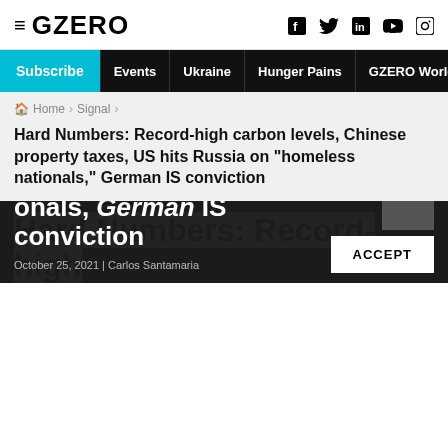≡ GZERO
Subscribe  Events  Ukraine  Hunger Pains  GZERO World
Home › Signal ›
Hard Numbers: Record-high carbon levels, Chinese property taxes, US hits Russia on "homeless nationals," German IS conviction
Hard Numbers: Record-high
We have updated our Privacy Policy and Terms of Use for Eurasia Group and its affiliates, including GZERO Media, to clarify the types of data we collect, how we collect it, how we use data and with whom we share data. This website uses cookies. By using our website you consent to our Terms and Conditions and Privacy Policy, including the transfer of your personal data to the United States from your country of residence (if different), and our use of cookies as described in our Cookie Policy.
onals, German IS conviction
October 25, 2021 | Carlos Santamaria
ACCEPT